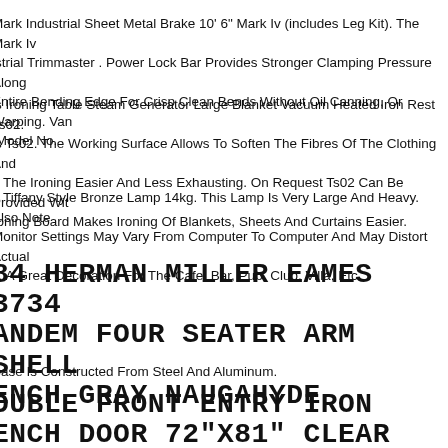Mark Industrial Sheet Metal Brake 10' 6" Mark Iv (includes Leg Kit). The Mark Iv istrial Trimmaster . Power Lock Bar Provides Stronger Clamping Pressure Along Entire Bending Edge For Crisp Clean Bends Without Oil Canning, Or Warping. Van Model No.
is Ironing Table Steam Generator Large Blanket Vacuum Heated Iron Rest Ts02. is Ts02. The Working Surface Allows To Soften The Fibres Of The Clothing And e The Ironing Easier And Less Exhausting. On Request Ts02 Can Be Provided Wit roning Board Makes Ironing Of Blankets, Sheets And Curtains Easier.
e Tiffany Style Bronze Lamp 14kg. This Lamp Is Very Large And Heavy. Also Note Monitor Settings May Vary From Computer To Computer And May Distort Actual s. A Great Decoration For The Cafe, Bar, Pub, Club, Villa, Etc.
84 HERMAN MILLER EAMES 3734 ANDEM FOUR SEATER ARM SHELL ENCH GRAY NAUGAHYDE
Base Is Constructed From Steel And Aluminum.
OUBLE FRONT ENTRY IRON ENCH DOOR 72"X81" CLEAR GLASS